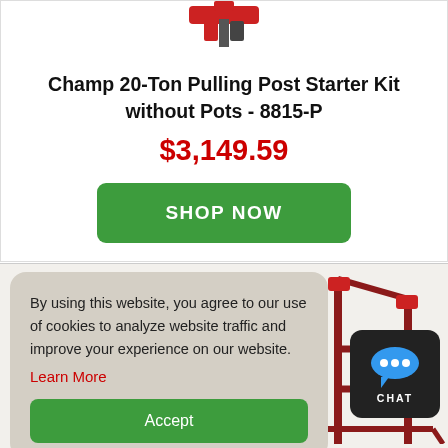[Figure (photo): Partial product image of a red pulling post tool visible at the top of the card, cropped.]
Champ 20-Ton Pulling Post Starter Kit without Pots - 8815-P
$3,149.59
SHOP NOW
[Figure (photo): Partial image of a red pulling post stand visible in the lower right area of the page.]
By using this website, you agree to our use of cookies to analyze website traffic and improve your experience on our website.
Learn More
Accept
[Figure (other): Chat button badge with a speech bubble icon and the word CHAT, dark background.]